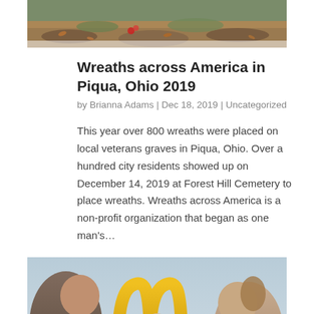[Figure (photo): Top portion of an outdoor/cemetery scene with autumn leaves and ground cover, partially cropped]
Wreaths across America in Piqua, Ohio 2019
by Brianna Adams | Dec 18, 2019 | Uncategorized
This year over 800 wreaths were placed on local veterans graves in Piqua, Ohio. Over a hundred city residents showed up on December 14, 2019 at Forest Hill Cemetery to place wreaths. Wreaths across America is a non-profit organization that began as one man's…
[Figure (photo): Family at McDonald's, golden arches visible in background, people laughing and interacting outdoors]